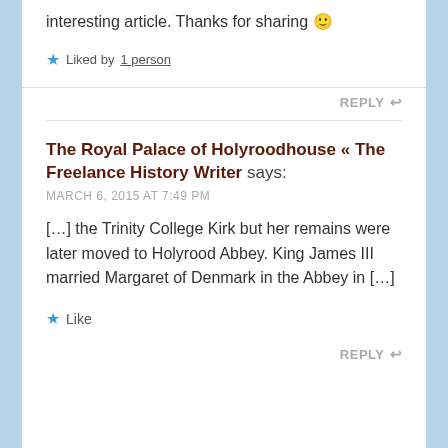interesting article. Thanks for sharing 🙂
★ Liked by 1 person
REPLY ↩
The Royal Palace of Holyroodhouse « The Freelance History Writer says:
MARCH 6, 2015 AT 7:49 PM
[…] the Trinity College Kirk but her remains were later moved to Holyrood Abbey. King James III married Margaret of Denmark in the Abbey in […]
★ Like
REPLY ↩